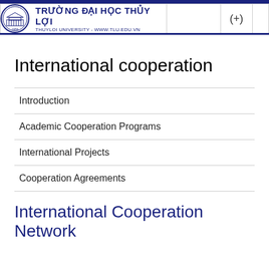TRƯỜNG ĐẠI HỌC THỦY LỢI — THUYLOI UNIVERSITY - WWW.TLU.EDU.VN (+)
International cooperation
Introduction
Academic Cooperation Programs
International Projects
Cooperation Agreements
International Cooperation Network